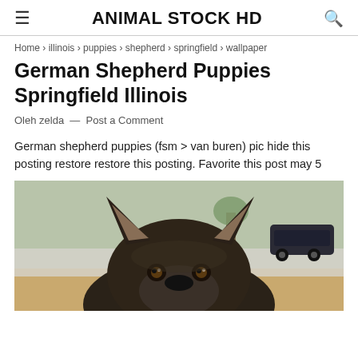ANIMAL STOCK HD
Home › illinois › puppies › shepherd › springfield › wallpaper
German Shepherd Puppies Springfield Illinois
Oleh zelda — Post a Comment
German shepherd puppies (fsm > van buren) pic hide this posting restore restore this posting. Favorite this post may 5
[Figure (photo): Close-up photo of a German Shepherd puppy looking at camera, with ears prominent, outdoors with a car and road visible in background.]